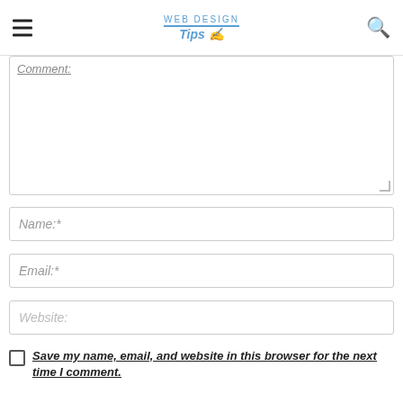WEB DESIGN Tips [logo with hamburger menu and search icon]
[Figure (screenshot): Comment text area input field with italic underlined placeholder text 'Comment:']
[Figure (screenshot): Name input field with italic placeholder 'Name:*']
[Figure (screenshot): Email input field with italic placeholder 'Email:*']
[Figure (screenshot): Website input field with italic placeholder 'Website:']
Save my name, email, and website in this browser for the next time I comment.